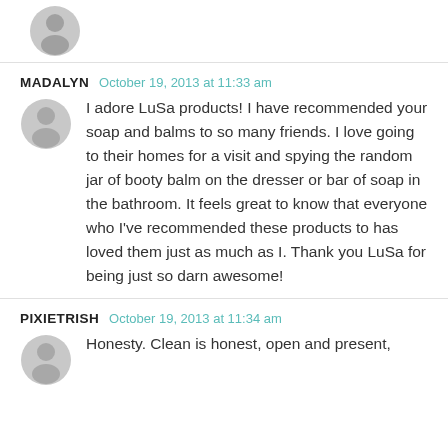[Figure (illustration): Gray avatar/user icon at top of page, partially cropped]
MADALYN   October 19, 2013 at 11:33 am
I adore LuSa products! I have recommended your soap and balms to so many friends. I love going to their homes for a visit and spying the random jar of booty balm on the dresser or bar of soap in the bathroom. It feels great to know that everyone who I've recommended these products to has loved them just as much as I. Thank you LuSa for being just so darn awesome!
PIXIETRISH   October 19, 2013 at 11:34 am
Honesty. Clean is honest, open and present,